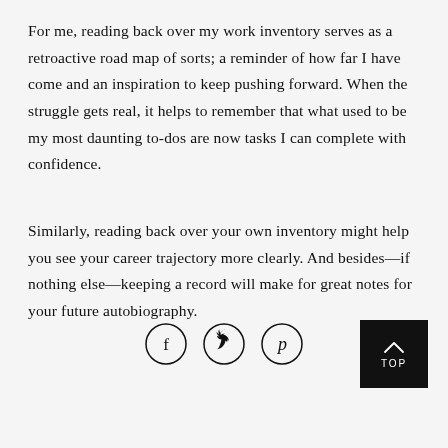For me, reading back over my work inventory serves as a retroactive road map of sorts; a reminder of how far I have come and an inspiration to keep pushing forward. When the struggle gets real, it helps to remember that what used to be my most daunting to-dos are now tasks I can complete with confidence.
Similarly, reading back over your own inventory might help you see your career trajectory more clearly. And besides—if nothing else—keeping a record will make for great notes for your future autobiography.
[Figure (infographic): Three social media share buttons in circles (Facebook f, Twitter bird, Pinterest p) and a black 'TOP' button with chevron arrow]